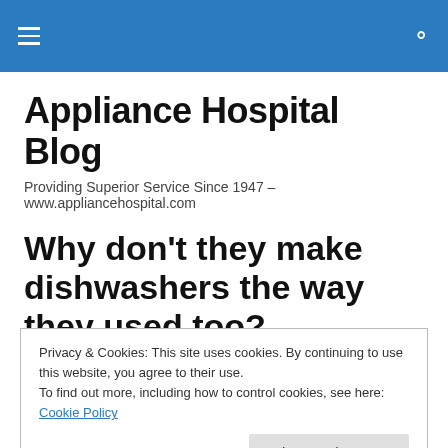Appliance Hospital Blog
Providing Superior Service Since 1947 – www.appliancehospital.com
Why don't they make dishwashers the way they used too?
Privacy & Cookies: This site uses cookies. By continuing to use this website, you agree to their use.
To find out more, including how to control cookies, see here: Cookie Policy
are: